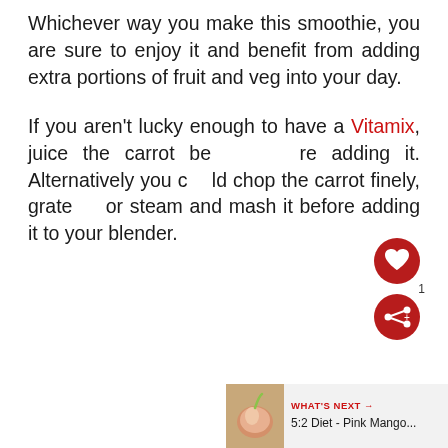Whichever way you make this smoothie, you are sure to enjoy it and benefit from adding extra portions of fruit and veg into your day.
If you aren't lucky enough to have a Vitamix, juice the carrot before adding it. Alternatively you could chop the carrot finely, grate it or steam and mash it before adding it to your blender.
[Figure (other): UI overlay showing a red heart/like button with a '1' notification badge and a red share button]
[Figure (other): What's Next banner in bottom right corner showing a thumbnail of a pink mango smoothie image and text: WHAT'S NEXT → 5:2 Diet - Pink Mango...]